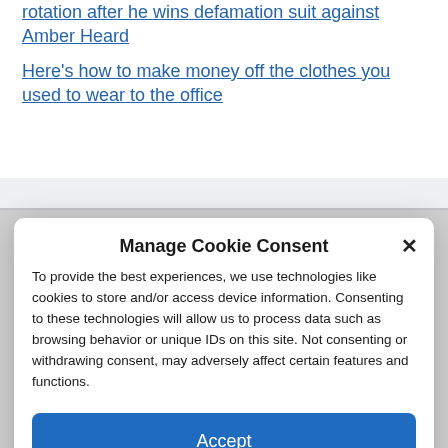rotation after he wins defamation suit against Amber Heard
Here's how to make money off the clothes you used to wear to the office
Manage Cookie Consent
To provide the best experiences, we use technologies like cookies to store and/or access device information. Consenting to these technologies will allow us to process data such as browsing behavior or unique IDs on this site. Not consenting or withdrawing consent, may adversely affect certain features and functions.
Accept
Cookie Policy